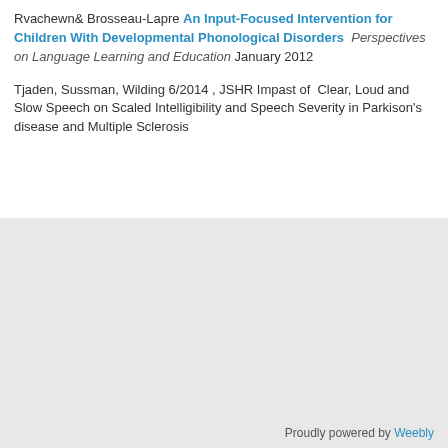Rvachewn& Brosseau-Lapre An Input-Focused Intervention for Children With Developmental Phonological Disorders   Perspectives on Language Learning and Education January 2012
Tjaden, Sussman, Wilding 6/2014 , JSHR Impast of  Clear, Loud and Slow Speech on Scaled Intelligibility and Speech Severity in Parkison's disease and Multiple Sclerosis
Proudly powered by Weebly